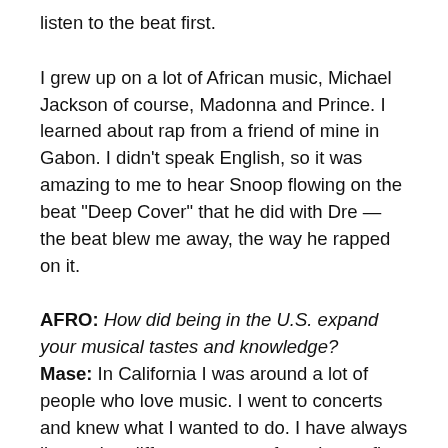listen to the beat first.
I grew up on a lot of African music, Michael Jackson of course, Madonna and Prince. I learned about rap from a friend of mine in Gabon. I didn't speak English, so it was amazing to me to hear Snoop flowing on the beat “Deep Cover” that he did with Dre — the beat blew me away, the way he rapped on it.
AFRO: How did being in the U.S. expand your musical tastes and knowledge? Mase: In California I was around a lot of people who love music. I went to concerts and knew what I wanted to do. I have always listened to different genres of music; my first CD was by Nirvana. I still like rock music, but what I love most